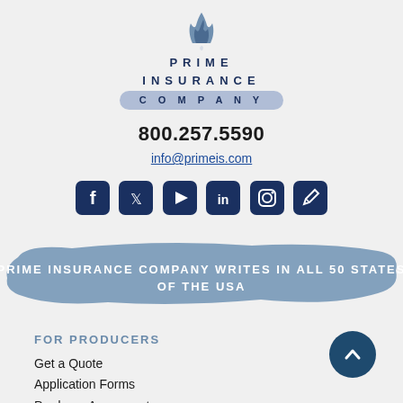[Figure (logo): Prime Insurance Company logo — stylized crown/flame icon above company name in two lines, with COMPANY in a rounded banner]
800.257.5590
info@primeis.com
[Figure (infographic): Row of six dark navy social media icon buttons: Facebook, Twitter, YouTube, LinkedIn, Instagram, Blog/Edit]
[Figure (infographic): Brushstroke banner in steel blue with white bold uppercase text: PRIME INSURANCE COMPANY WRITES IN ALL 50 STATES OF THE USA]
FOR PRODUCERS
Get a Quote
Application Forms
Producer Agreement
Risk Management
Prime Services
Claims